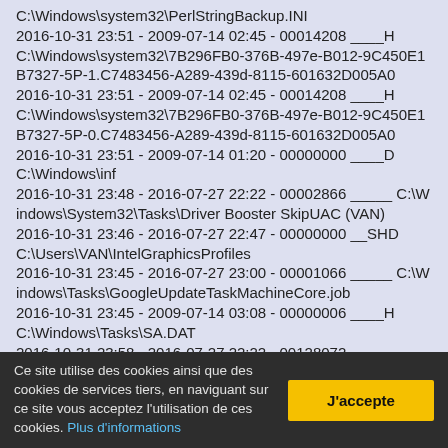C:\Windows\system32\PerlStringBackup.INI
2016-10-31 23:51 - 2009-07-14 02:45 - 00014208 ____H C:\Windows\system32\7B296FB0-376B-497e-B012-9C450E1B7327-5P-1.C7483456-A289-439d-8115-601632D005A0
2016-10-31 23:51 - 2009-07-14 02:45 - 00014208 ____H C:\Windows\system32\7B296FB0-376B-497e-B012-9C450E1B7327-5P-0.C7483456-A289-439d-8115-601632D005A0
2016-10-31 23:51 - 2009-07-14 01:20 - 00000000 ____D C:\Windows\inf
2016-10-31 23:48 - 2016-07-27 22:22 - 00002866 _____ C:\Windows\System32\Tasks\Driver Booster SkipUAC (VAN)
2016-10-31 23:46 - 2016-07-27 22:47 - 00000000 __SHD C:\Users\VAN\IntelGraphicsProfiles
2016-10-31 23:45 - 2016-07-27 23:00 - 00001066 _____ C:\Windows\Tasks\GoogleUpdateTaskMachineCore.job
2016-10-31 23:45 - 2009-07-14 03:08 - 00000006 ____H C:\Windows\Tasks\SA.DAT
2016-10-31 23:58 - 2016-07-27 22:22 - 00128072
Ce site utilise des cookies ainsi que des cookies de services tiers, en naviguant sur ce site vous acceptez l'utilisation de ces cookies. Plus d'informations
J'accepte